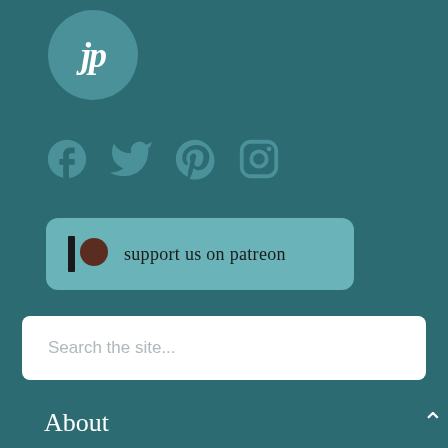[Figure (logo): Circular teal logo with stylized 'jp' script lettering in white]
[Figure (infographic): Row of four social media icons: Facebook, Twitter, Pinterest, Instagram in teal color]
[Figure (infographic): Patreon support button with Patreon logo and text 'support us on patreon' on teal background]
Search the site...
About